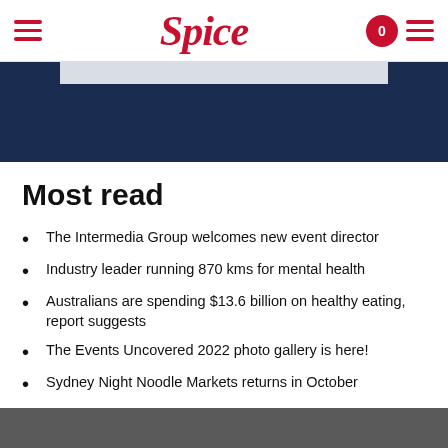Spice
[Figure (other): Dark navy blue banner image area with a light grey rectangle at the top]
Most read
The Intermedia Group welcomes new event director
Industry leader running 870 kms for mental health
Australians are spending $13.6 billion on healthy eating, report suggests
The Events Uncovered 2022 photo gallery is here!
Sydney Night Noodle Markets returns in October